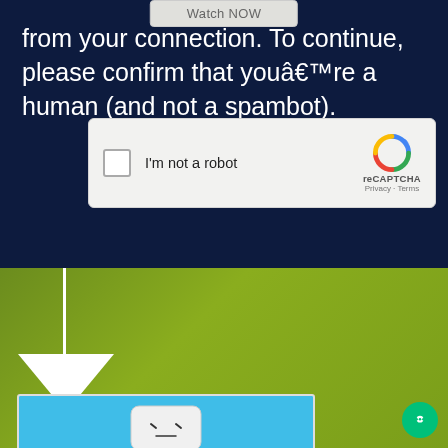Watch NOW
from your connection. To continue, please confirm that youâ€™re a human (and not a spambot).
[Figure (screenshot): reCAPTCHA widget with checkbox labeled 'I'm not a robot', reCAPTCHA logo and branding with Privacy and Terms links]
[Figure (illustration): Olive-green gradient background section with a white vertical line and downward-pointing white arrow, leading to a partially visible thumbnail image of a white robot on a blue background]